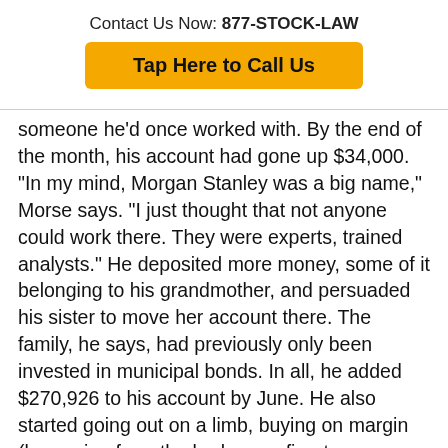Contact Us Now: 877-STOCK-LAW
Tap Here to Call Us
someone he'd once worked with. By the end of the month, his account had gone up $34,000. "In my mind, Morgan Stanley was a big name," Morse says. "I just thought that not anyone could work there. They were experts, trained analysts." He deposited more money, some of it belonging to his grandmother, and persuaded his sister to move her account there. The family, he says, had previously only been invested in municipal bonds. In all, he added $270,926 to his account by June. He also started going out on a limb, buying on margin (borrowing from the brokerage firm to